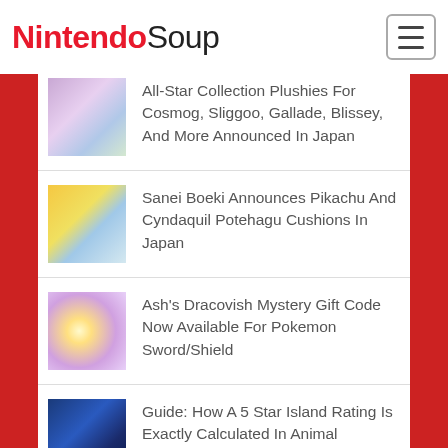NintendoSoup
All-Star Collection Plushies For Cosmog, Sliggoo, Gallade, Blissey, And More Announced In Japan
Sanei Boeki Announces Pikachu And Cyndaquil Potehagu Cushions In Japan
Ash's Dracovish Mystery Gift Code Now Available For Pokemon Sword/Shield
Guide: How A 5 Star Island Rating Is Exactly Calculated In Animal Crossing: New Horizons